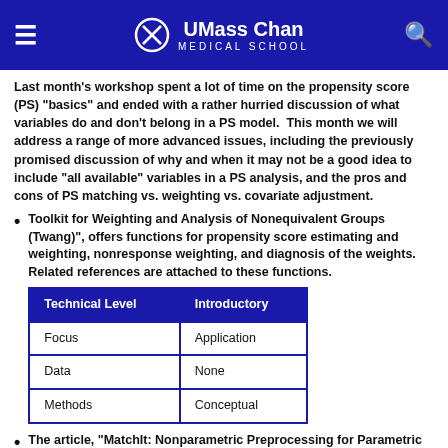UMass Chan Medical School
Last month's workshop spent a lot of time on the propensity score (PS) "basics" and ended with a rather hurried discussion of what variables do and don't belong in a PS model. This month we will address a range of more advanced issues, including the previously promised discussion of why and when it may not be a good idea to include "all available" variables in a PS analysis, and the pros and cons of PS matching vs. weighting vs. covariate adjustment.
Toolkit for Weighting and Analysis of Nonequivalent Groups (Twang)", offers functions for propensity score estimating and weighting, nonresponse weighting, and diagnosis of the weights. Related references are attached to these functions.
| Technical Level | Introductory |
| --- | --- |
| Focus | Application |
| Data | None |
| Methods | Conceptual |
The article, "MatchIt: Nonparametric Preprocessing for Parametric Causal Inference ", by Ho, Imai, K...
| Technical Level | Introductory |
| --- | --- |